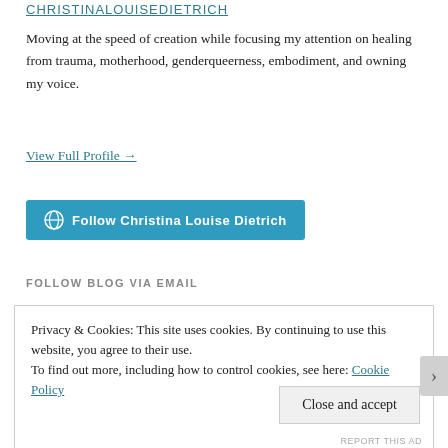CHRISTINALOUISEDIETRICH
Moving at the speed of creation while focusing my attention on healing from trauma, motherhood, genderqueerness, embodiment, and owning my voice.
View Full Profile →
[Figure (other): Blue button with WordPress icon: 'Follow Christina Louise Dietrich']
FOLLOW BLOG VIA EMAIL
Privacy & Cookies: This site uses cookies. By continuing to use this website, you agree to their use.
To find out more, including how to control cookies, see here: Cookie Policy
Close and accept